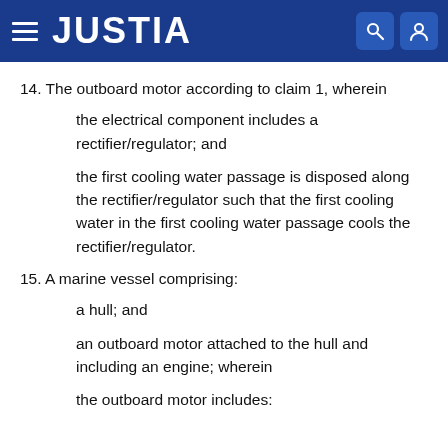JUSTIA
14. The outboard motor according to claim 1, wherein
the electrical component includes a rectifier/regulator; and
the first cooling water passage is disposed along the rectifier/regulator such that the first cooling water in the first cooling water passage cools the rectifier/regulator.
15. A marine vessel comprising:
a hull; and
an outboard motor attached to the hull and including an engine; wherein
the outboard motor includes: